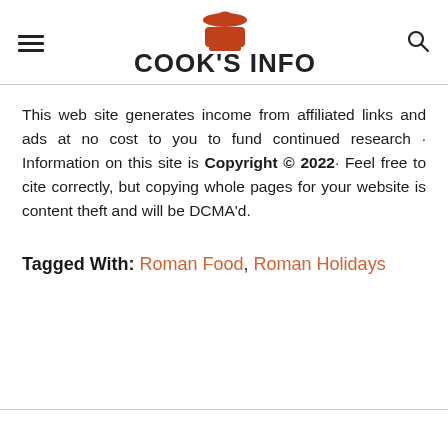COOK'S INFO
This web site generates income from affiliated links and ads at no cost to you to fund continued research · Information on this site is Copyright © 2022· Feel free to cite correctly, but copying whole pages for your website is content theft and will be DCMA'd.
Tagged With: Roman Food, Roman Holidays